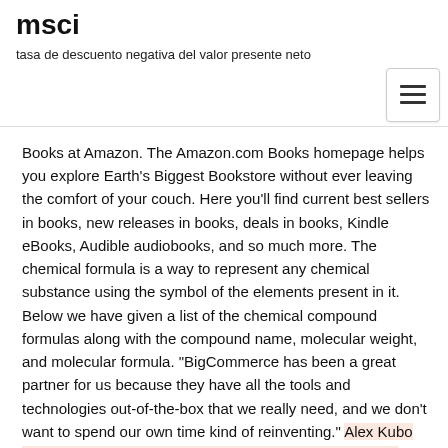msci
tasa de descuento negativa del valor presente neto
[Figure (other): Hamburger menu button icon]
Books at Amazon. The Amazon.com Books homepage helps you explore Earth's Biggest Bookstore without ever leaving the comfort of your couch. Here you'll find current best sellers in books, new releases in books, deals in books, Kindle eBooks, Audible audiobooks, and so much more. The chemical formula is a way to represent any chemical substance using the symbol of the elements present in it. Below we have given a list of the chemical compound formulas along with the compound name, molecular weight, and molecular formula. "BigCommerce has been a great partner for us because they have all the tools and technologies out-of-the-box that we really need, and we don't want to spend our own time kind of reinventing." Alex Kubo VP, Ecommerce and Digital Marketing. Read Their Story. Watch the video a. Molt Diets. Adding supplemental calcium to